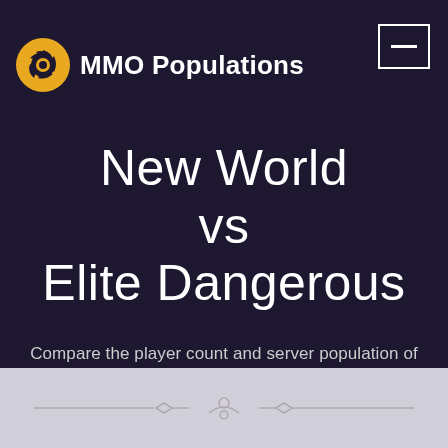MMO Populations
New World vs Elite Dangerous
Compare the player count and server population of both New World and Elite Dangerous against one other to decide which game to play, which one is the most busy, and which you might enjoy the most.
[Figure (illustration): Decorative ornamental divider on light grey background at bottom of page]